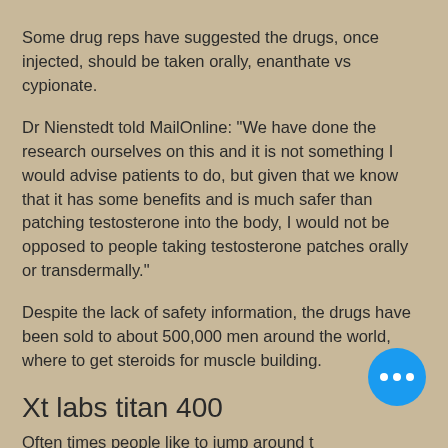Some drug reps have suggested the drugs, once injected, should be taken orally, enanthate vs cypionate.
Dr Nienstedt told MailOnline: "We have done the research ourselves on this and it is not something I would advise patients to do, but given that we know that it has some benefits and is much safer than patching testosterone into the body, I would not be opposed to people taking testosterone patches orally or transdermally."
Despite the lack of safety information, the drugs have been sold to about 500,000 men around the world, where to get steroids for muscle building.
Xt labs titan 400
Often times people like to jump around to different labs offered on steroid sitesto try a